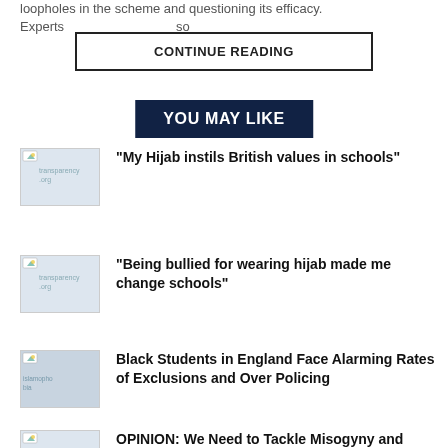loopholes in the scheme and questioning its efficacy. Experts…
CONTINUE READING
YOU MAY LIKE
[Figure (photo): Thumbnail image placeholder for article 1]
“My Hijab instils British values in schools”
[Figure (photo): Thumbnail image placeholder for article 2]
“Being bullied for wearing hijab made me change schools”
[Figure (photo): Thumbnail image placeholder for article 3 - islamophobia]
Black Students in England Face Alarming Rates of Exclusions and Over Policing
[Figure (photo): Thumbnail image placeholder for article 4]
OPINION: We Need to Tackle Misogyny and ‘Incel Culture’ in Society not Just in Schools